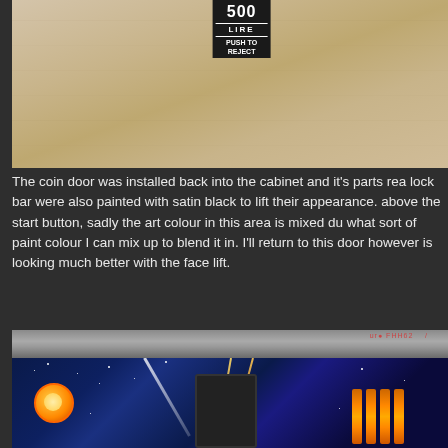[Figure (photo): Photo of a wooden surface with a black coin mechanism label showing '500 LIRE' and 'PUSH TO REJECT' text on a small dark card/tag]
The coin door was installed back into the cabinet and it's parts rea lock bar were also painted with satin black to lift their appearance. above the start button, sadly the art colour in this area is mixed du what sort of paint colour I can mix up to blend it in. I'll return to this door however is looking much better with the face lift.
[Figure (photo): Photo of a pinball machine showing the front panel with a chrome/silver lock bar at the top, a space-themed playfield with stars and diagonal light streaks, a dark coin door box in the center, glowing orange coin return buttons on the right, and a character illustration (yellow/orange face) on the lower left]